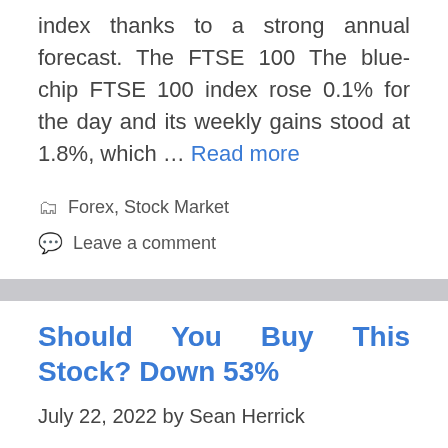index thanks to a strong annual forecast. The FTSE 100 The blue-chip FTSE 100 index rose 0.1% for the day and its weekly gains stood at 1.8%, which … Read more
🗂 Forex, Stock Market
💬 Leave a comment
Should You Buy This Stock? Down 53%
July 22, 2022 by Sean Herrick